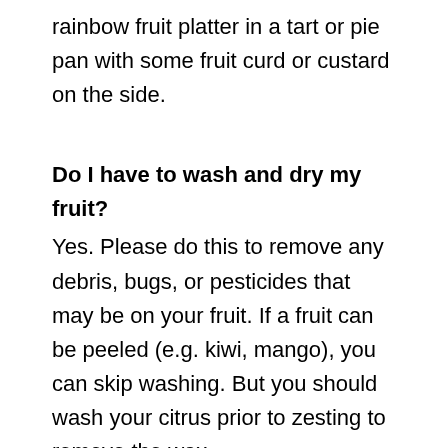rainbow fruit platter in a tart or pie pan with some fruit curd or custard on the side.
Do I have to wash and dry my fruit?
Yes. Please do this to remove any debris, bugs, or pesticides that may be on your fruit. If a fruit can be peeled (e.g. kiwi, mango), you can skip washing. But you should wash your citrus prior to zesting to remove the wax.
How do you peel a mango?
There are several ways to peel a mango,